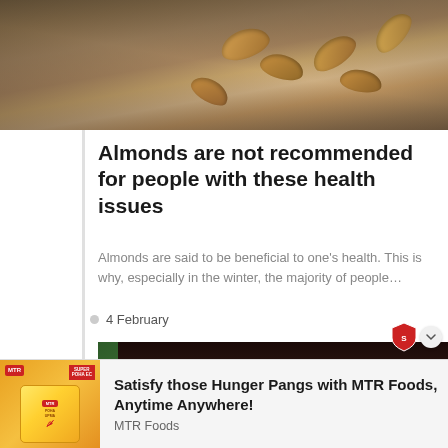[Figure (photo): Photo of almonds scattered on a wooden surface with burlap fabric]
Almonds are not recommended for people with these health issues
Almonds are said to be beneficial to one’s health. This is why, especially in the winter, the majority of people…
4 February
[Figure (photo): Photo of a young woman wearing a white face mask, with green bokeh background]
Satisfy those Hunger Pangs with MTR Foods, Anytime Anywhere!
MTR Foods